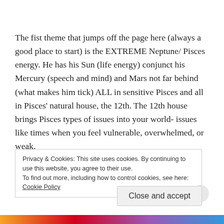The fist theme that jumps off the page here (always a good place to start) is the EXTREME Neptune/ Pisces energy.  He has his Sun (life energy) conjunct his Mercury (speech and mind) and Mars not far behind (what makes him tick) ALL in sensitive Pisces and all in Pisces' natural house, the 12th.  The 12th house brings Pisces types of issues into your world- issues like times when you feel vulnerable, overwhelmed, or weak.
Privacy & Cookies: This site uses cookies. By continuing to use this website, you agree to their use.
To find out more, including how to control cookies, see here:
Cookie Policy
Close and accept